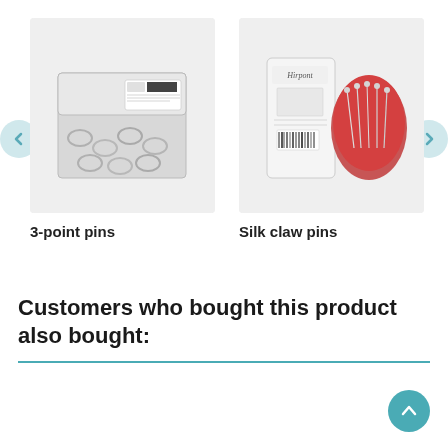[Figure (photo): 3-point pins product in a clear plastic box with silver metal rings/pins]
3-point pins
[Figure (photo): Silk claw pins product shown with packaging card and red/silver pins spilled out]
Silk claw pins
Customers who bought this product also bought: